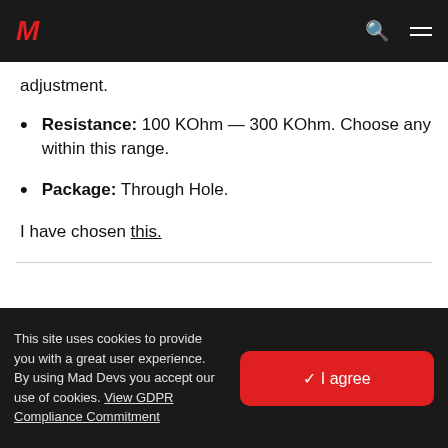M [logo] [search] [menu]
adjustment.
Resistance: 100 KOhm — 300 KOhm. Choose any within this range.
Package: Through Hole.
I have chosen this.
This site uses cookies to provide you with a great user experience. By using Mad Devs you accept our use of cookies. View GDPR Compliance Commitment  ✓ I agree